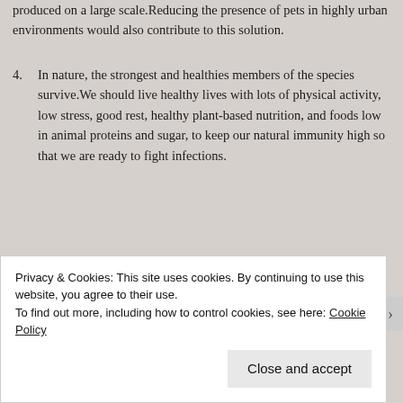produced on a large scale.Reducing the presence of pets in highly urban environments would also contribute to this solution.
4. In nature, the strongest and healthies members of the species survive.We should live healthy lives with lots of physical activity, low stress, good rest, healthy plant-based nutrition, and foods low in animal proteins and sugar, to keep our natural immunity high so that we are ready to fight infections.
Advertisements
[Figure (screenshot): WooCommerce advertisement banner with purple background]
Privacy & Cookies: This site uses cookies. By continuing to use this website, you agree to their use.
To find out more, including how to control cookies, see here: Cookie Policy